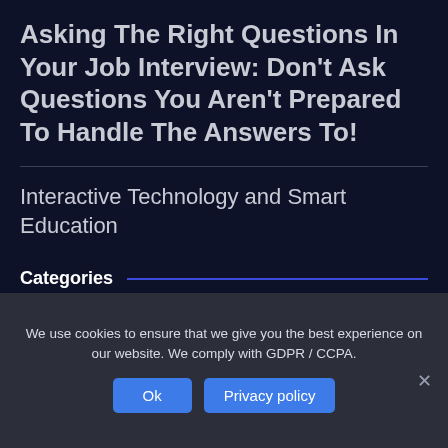Asking The Right Questions In Your Job Interview: Don't Ask Questions You Aren't Prepared To Handle The Answers To!
Interactive Technology and Smart Education
Categories
Career Advice
College applications
We use cookies to ensure that we give you the best experience on our website. We comply with GDPR / CCPA.